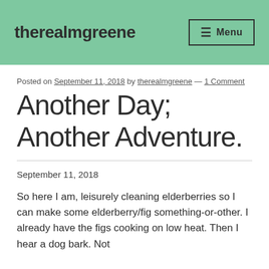therealmgreene
Posted on September 11, 2018 by therealmgreene — 1 Comment
Another Day; Another Adventure.
September 11, 2018
So here I am, leisurely cleaning elderberries so I can make some elderberry/fig something-or-other. I already have the figs cooking on low heat. Then I hear a dog bark. Not